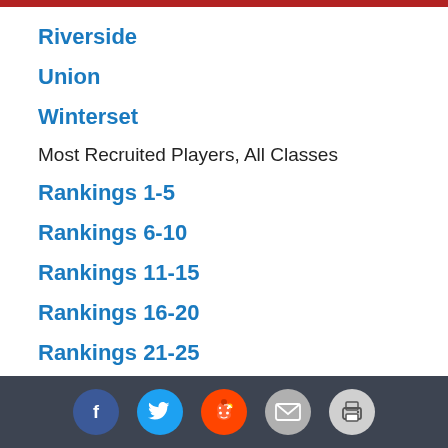Riverside
Union
Winterset
Most Recruited Players, All Classes
Rankings 1-5
Rankings 6-10
Rankings 11-15
Rankings 16-20
Rankings 21-25
Rankings 26-30
Early Conference Previews
War Eagle
West Central